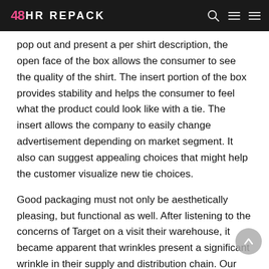48HR REPACK
pop out and present a per shirt description, the open face of the box allows the consumer to see the quality of the shirt. The insert portion of the box provides stability and helps the consumer to feel what the product could look like with a tie. The insert allows the company to easily change advertisement depending on market segment. It also can suggest appealing choices that might help the customer visualize new tie choices.
Good packaging must not only be aesthetically pleasing, but functional as well. After listening to the concerns of Target on a visit their warehouse, it became apparent that wrinkles present a significant wrinkle in their supply and distribution chain. Our solution; a box that doesn't allow the article of clothing to move within it resulting in wrinkle free clothing that enters store shelves. The